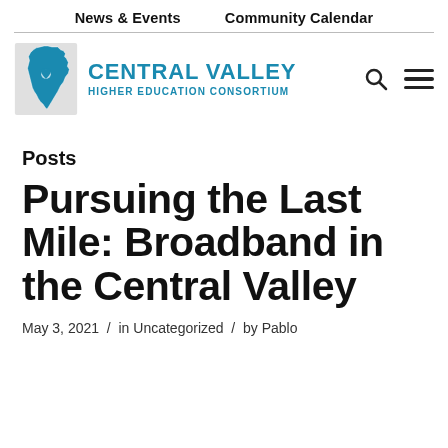News & Events    Community Calendar
[Figure (logo): Central Valley Higher Education Consortium logo with California state shape in blue and gray, teal CENTRAL VALLEY text, subtitle HIGHER EDUCATION CONSORTIUM, search icon and hamburger menu]
Posts
Pursuing the Last Mile: Broadband in the Central Valley
May 3, 2021  /  in Uncategorized  /  by Pablo